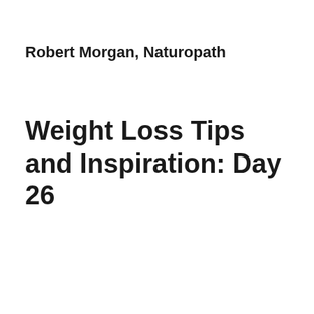Robert Morgan, Naturopath
Weight Loss Tips and Inspiration: Day 26